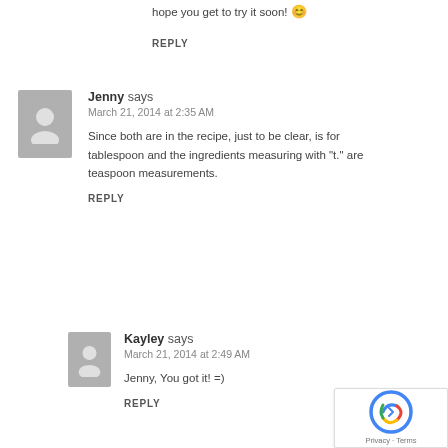hope you get to try it soon! 😊
REPLY
Jenny says
March 21, 2014 at 2:35 AM
Since both are in the recipe, just to be clear, is for tablespoon and the ingredients measuring with "t." are teaspoon measurements.
REPLY
Kayley says
March 21, 2014 at 2:49 AM
Jenny, You got it! =)
REPLY
[Figure (logo): reCAPTCHA badge with Privacy and Terms text]